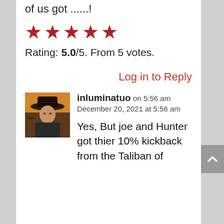of us got ......!
[Figure (other): Five red star rating icons]
Rating: 5.0/5. From 5 votes.
Log in to Reply
[Figure (photo): Avatar image of a cowboy figure holding a rifle against an orange/brown background]
inluminatuo on 5:56 am December 20, 2021 at 5:56 am
Yes, But joe and Hunter got thier 10% kickback from the Taliban of